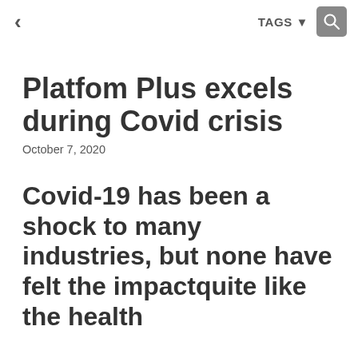< TAGS 🔍
Platfom Plus excels during Covid crisis
October 7, 2020
Covid-19 has been a shock to many industries, but none have felt the impactquite like the health